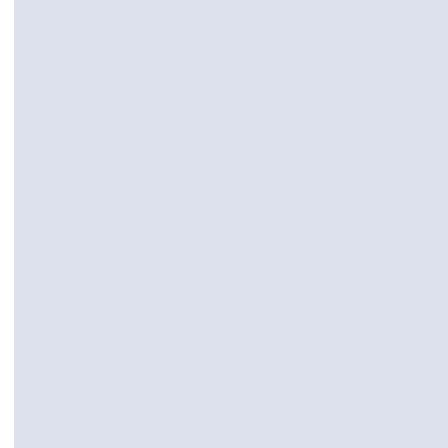[Figure (other): Light blue/lavender background panel occupying the left majority of the page, with a thin vertical border on the right side]
April 2010
March 2010
February 2010
January 2010
December 2009
November 2009
October 2009
September 2009
August 2009
July 2009
June 2009
May 2009
April 2009
March 2009
February 2009
January 2009
December 2008
November 2008
October 2008
September 2008
August 2008
July 2008
June 2008
May 2008
April 2008
March 2008
February 2008
January 2008
December 2007
November 2007
October 2007
September 2007
August 2007